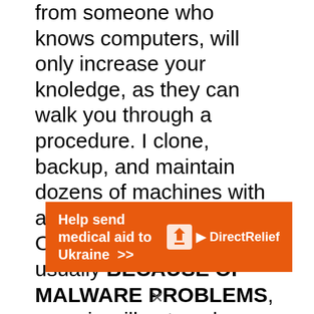from someone who knows computers, will only increase your knoledge, as they can walk you through a procedure. I clone, backup, and maintain dozens of machines with acronis without issues. On odd occasions, usually BECAUSE OF MALWARE PROBLEMS, acronis will not work properly. If you are running windows without proper virus and spyware protection DO NOT EXPECT ANY
[Figure (other): Advertisement banner: orange background with text 'Help send medical aid to Ukraine >>' and Direct Relief logo on the right]
×